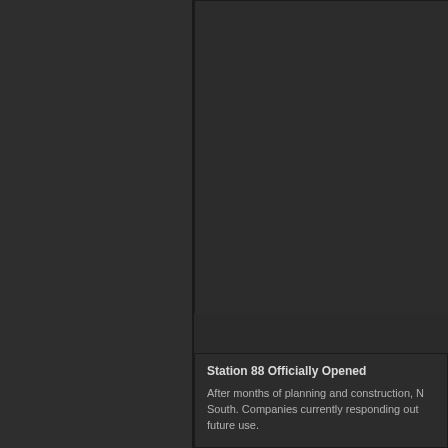[Figure (photo): Dark panel on the left side of the page, appears to be a cropped image or photo panel with dark background]
[Figure (photo): Dark rectangular area in the upper right, appears to be a photo or image panel with very dark background]
Station 88 Officially Opened
After months of planning and construction, [text continues off-page] South. Companies currently responding out[side view] future use.